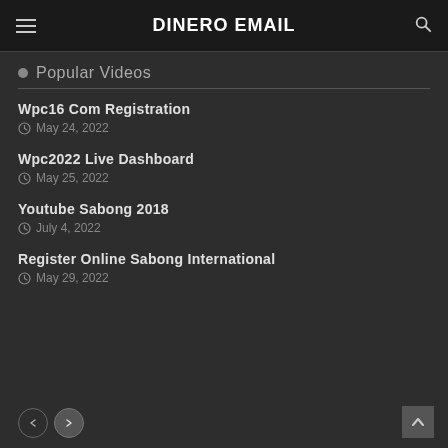DINERO EMAIL
Popular Videos
Wpc16 Com Registration
May 24, 2022
Wpc2022 Live Dashboard
May 25, 2022
Youtube Sabong 2018
July 4, 2022
Register Online Sabong International
May 29, 2022